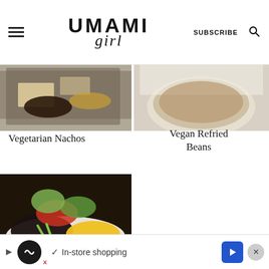UMAMI girl — SUBSCRIBE [search icon]
[Figure (photo): Top-left partial food photo: nachos on a dark baking tray]
[Figure (photo): Top-right partial food photo: refried beans in a white bowl with crumbs]
Vegetarian Nachos
Vegan Refried Beans
[Figure (photo): Bottom-left food photo: bowl with black beans, corn, salsa, green onions, avocado]
[Figure (photo): Bottom-right food photo: sliced vegetarian quesadillas with herbs on parchment]
Veg
✓ In-store shopping